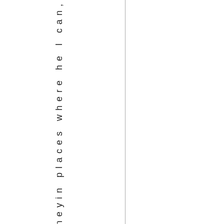vemoneyin places where he l can,